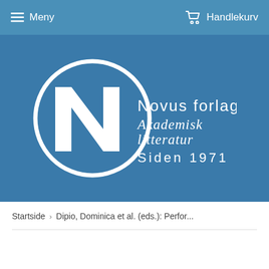Meny   Handlekurv
[Figure (logo): Novus forlag logo — white N in oval on blue background with text: Novus forlag, Akademisk litteratur, Siden 1971]
Startside › Dipio, Dominica et al. (eds.): Perfor...